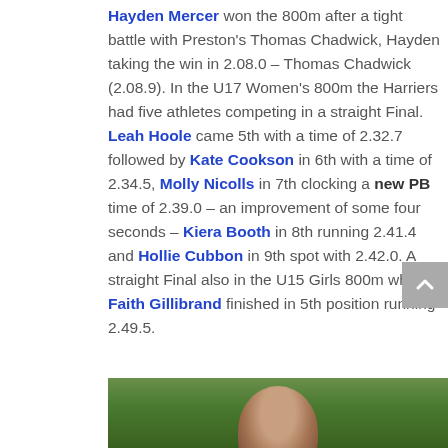Hayden Mercer won the 800m after a tight battle with Preston's Thomas Chadwick, Hayden taking the win in 2.08.0 – Thomas Chadwick (2.08.9). In the U17 Women's 800m the Harriers had five athletes competing in a straight Final. Leah Hoole came 5th with a time of 2.32.7 followed by Kate Cookson in 6th with a time of 2.34.5, Molly Nicolls in 7th clocking a new PB time of 2.39.0 – an improvement of some four seconds – Kiera Booth in 8th running 2.41.4 and Hollie Cubbon in 9th spot with 2.42.0. A straight Final also in the U15 Girls 800m where Faith Gillibrand finished in 5th position running 2.49.5.
[Figure (photo): Partial photo of a person with reddish-brown hair outdoors with green trees/foliage in the background, cropped at the bottom of the page.]